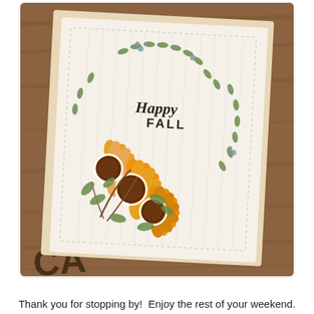[Figure (photo): A handmade greeting card photographed on a wooden surface. The card features a white panel with stitched border, a watercolor wreath of green leaves and blue berries, orange sunflowers in the lower left, and the text 'Happy FALL' in the center of the wreath.]
Thank you for stopping by!  Enjoy the rest of your weekend.